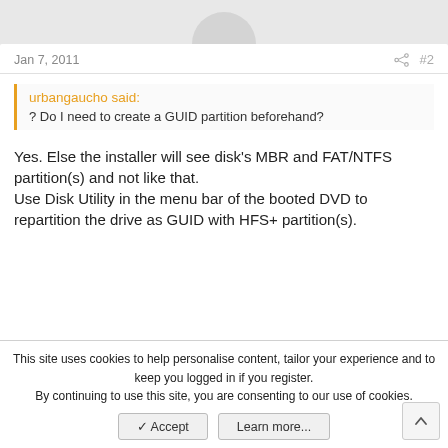Jan 7, 2011   #2
urbangaucho said: ? Do I need to create a GUID partition beforehand?
Yes. Else the installer will see disk's MBR and FAT/NTFS partition(s) and not like that.
Use Disk Utility in the menu bar of the booted DVD to repartition the drive as GUID with HFS+ partition(s).
mupkoc
Jan 7, 2011   #3
This site uses cookies to help personalise content, tailor your experience and to keep you logged in if you register.
By continuing to use this site, you are consenting to our use of cookies.
✓ Accept   Learn more...